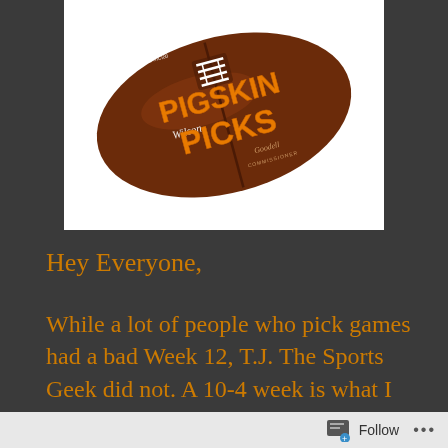[Figure (illustration): A Wilson NFL football with orange bold text 'PIGSKIN PICKS' overlaid on it, on a white background]
Hey Everyone,
While a lot of people who pick games had a bad Week 12, T.J. The Sports Geek did not. A 10-4 week is what I had, and I gave you unlikely winners such as the Jaguars beating
Follow ···